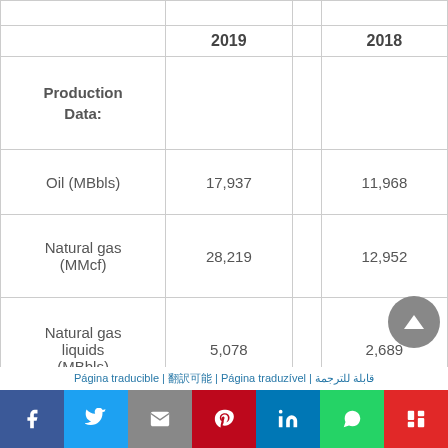|  | 2019 |  | 2018 |
| --- | --- | --- | --- |
| Production Data: |  |  |  |
| Oil (MBbls) | 17,937 |  | 11,968 |
| Natural gas (MMcf) | 28,219 |  | 12,952 |
| Natural gas liquids (MBbls) | 5,078 |  | 2,689 |
| Combined volumes | 27,718 |  | 16,816 |
Página traducible | 翻訳可能 | Página traduzível | قابلة للترجمة